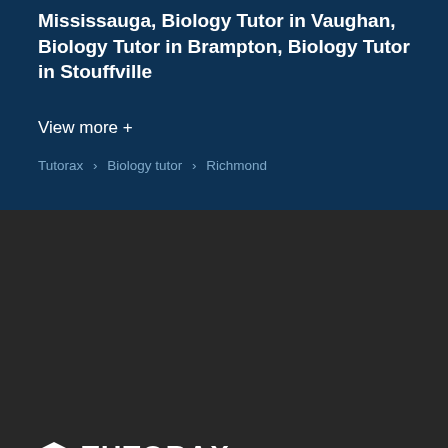Mississauga, Biology Tutor in Vaughan, Biology Tutor in Brampton, Biology Tutor in Stouffville
View more +
Tutorax › Biology tutor › Richmond
[Figure (logo): Tutorax logo with graduation cap icon and bold TUTORAX text in white]
1.800.513.5358
514.548.3242
647.560.7224
contact@tutorax.com
30 Rue Lefort Laval, QC H7L 0C5